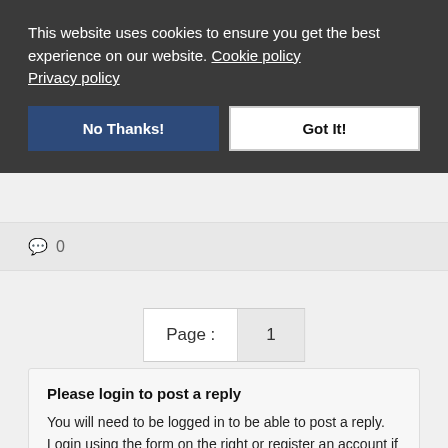This website uses cookies to ensure you get the best experience on our website. Cookie policy Privacy policy
No Thanks!
Got It!
0
Page : 1
Please login to post a reply
You will need to be logged in to be able to post a reply. Login using the form on the right or register an account if you are new here. Register Here »